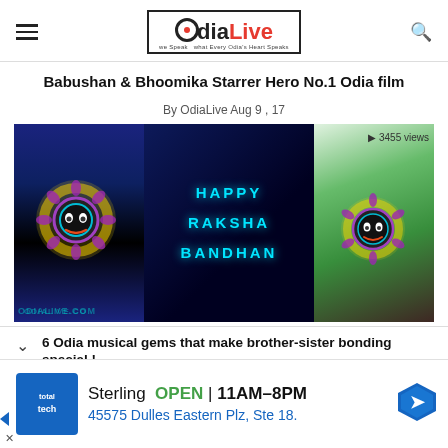OdiaLive — we Speak what Every Odia's Heart Speaks
Babushan & Bhoomika Starrer Hero No.1 Odia film
By OdiaLive Aug 9 , 17
[Figure (photo): Happy Raksha Bandhan image with decorative rakhi (Jagannath-themed) on left against dark blue background with neon cyan text 'HAPPY RAKSHA BANDHAN' and a second rakhi on right against green/brown background. Watermarks: ODIALIVE.COM on both halves. 3455 views label in top right.]
6 Odia musical gems that make brother-sister bonding special !
By OdiaLive Aug 26 , 15
Sterling  OPEN  11AM–8PM
45575 Dulles Eastern Plz, Ste 18.